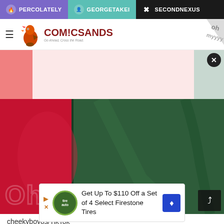PERCOLATELY | GEORGETAKEI | SECONDNEXUS
[Figure (logo): Comic Sands logo with rooster mascot and tagline]
[Figure (photo): Close-up photo of red and green fabric/clothing, with share button overlay]
cheekyboyos/TikTok
[Figure (infographic): Advertisement: Get Up To $110 Off a Set of 4 Select Firestone Tires]